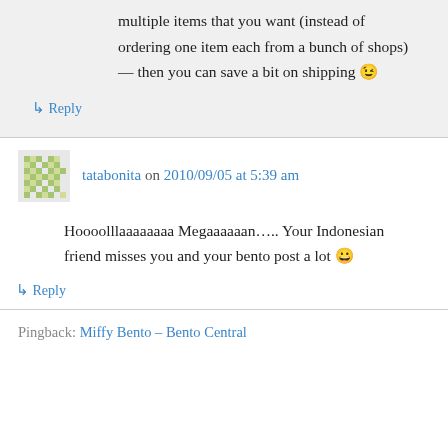multiple items that you want (instead of ordering one item each from a bunch of shops) — then you can save a bit on shipping 😉
↳ Reply
tatabonita on 2010/09/05 at 5:39 am
Hoooolllaaaaaaaa Megaaaaaan….. Your Indonesian friend misses you and your bento post a lot 😀
↳ Reply
Pingback: Miffy Bento – Bento Central